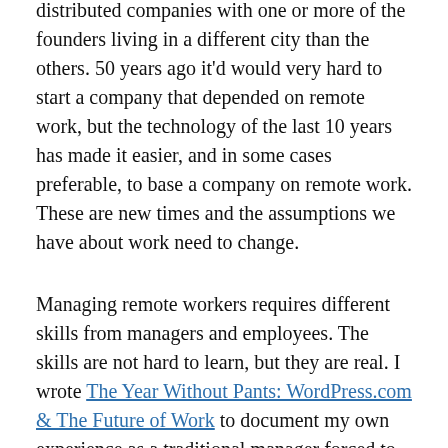distributed companies with one or more of the founders living in a different city than the others. 50 years ago it'd would very hard to start a company that depended on remote work, but the technology of the last 10 years has made it easier, and in some cases preferable, to base a company on remote work. These are new times and the assumptions we have about work need to change.
Managing remote workers requires different skills from managers and employees. The skills are not hard to learn, but they are real. I wrote The Year Without Pants: WordPress.com & The Future of Work to document my own experience as a traditional manager forced to learn this new way of thinking and to show what it was really like.